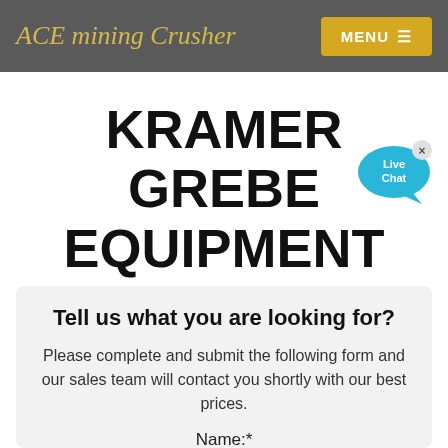ACE mining Crusher | MENU
KRAMER GREBE EQUIPMENT
[Figure (illustration): Live Chat speech bubble icon in blue with 'Live Chat' text and an X close button]
Tell us what you are looking for?
Please complete and submit the following form and our sales team will contact you shortly with our best prices.
Name:*